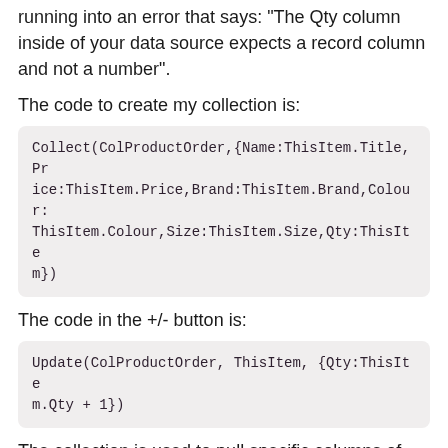running into an error that says: "The Qty column inside of your data source expects a record column and not a number".
The code to create my collection is:
Collect(ColProductOrder,{Name:ThisItem.Title,Price:ThisItem.Price,Brand:ThisItem.Brand,Colour:ThisItem.Colour,Size:ThisItem.Size,Qty:ThisItem})
The code in the +/- button is:
Update(ColProductOrder, ThisItem, {Qty:ThisItem.Qty + 1})
The collection is used to pull specific columns of data from my SharePoint List.
View solution in original post